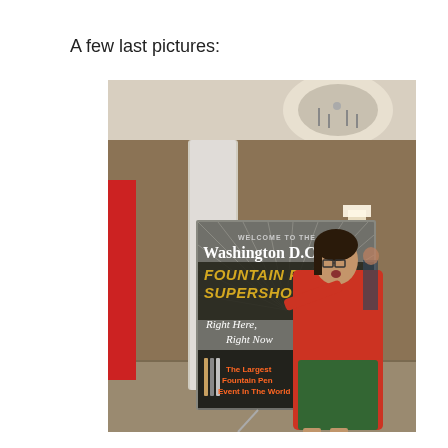A few last pictures:
[Figure (photo): A woman in a red cardigan and green skirt standing next to a sign that reads 'Washington D.C. Fountain Pen SuperShow, Right Here, Right Now. The Largest Fountain Pen Event In The World.' The photo is taken in a hotel lobby.]